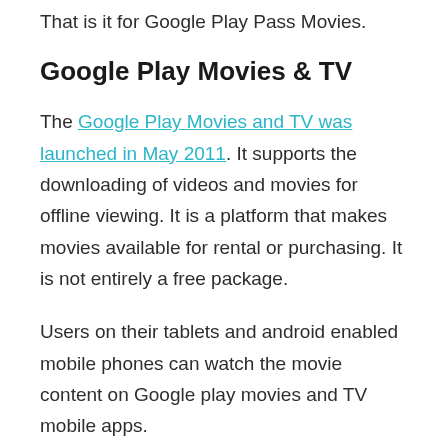That is it for Google Play Pass Movies.
Google Play Movies & TV
The Google Play Movies and TV was launched in May 2011. It supports the downloading of videos and movies for offline viewing. It is a platform that makes movies available for rental or purchasing. It is not entirely a free package.
Users on their tablets and android enabled mobile phones can watch the movie content on Google play movies and TV mobile apps.